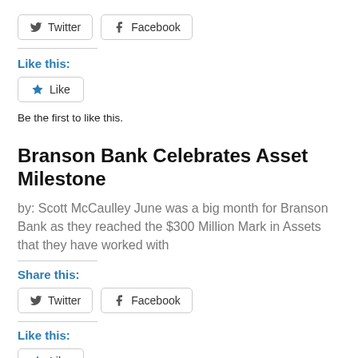[Figure (other): Twitter and Facebook share buttons]
Like this:
[Figure (other): Like button with star icon]
Be the first to like this.
Branson Bank Celebrates Asset Milestone
by: Scott McCaulley June was a big month for Branson Bank as they reached the $300 Million Mark in Assets that they have worked with
Share this:
[Figure (other): Twitter and Facebook share buttons]
Like this:
[Figure (other): Like button with star icon]